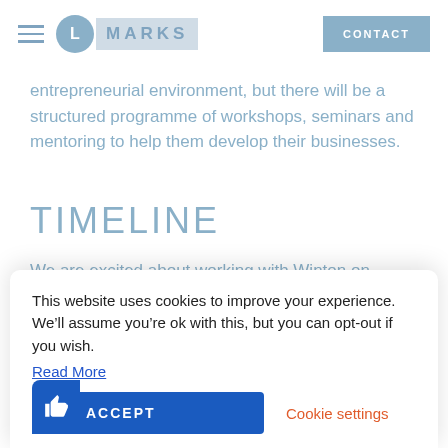L MARKS | CONTACT
entrepreneurial environment, but there will be a structured programme of workshops, seminars and mentoring to help them develop their businesses.
TIMELINE
We are excited about working with Winton on Winton Labs and helping them find some great start-ups to work with."Winton will select those teams and businesses that it identifies with and which fit its entrepreneurial culture. The application
This website uses cookies to improve your experience. We'll assume you're ok with this, but you can opt-out if you wish.
Read More
ACCEPT
Cookie settings